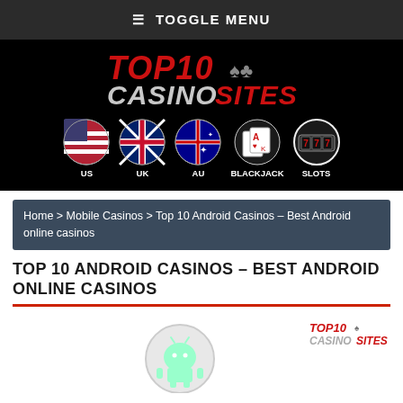≡ TOGGLE MENU
[Figure (logo): Top 10 Casino Sites logo on black background with navigation icons for US, UK, AU, BLACKJACK, SLOTS]
Home > Mobile Casinos > Top 10 Android Casinos – Best Android online casinos
TOP 10 ANDROID CASINOS – BEST ANDROID ONLINE CASINOS
[Figure (illustration): Android robot icon in circle and small Top 10 Casino Sites mini-logo]